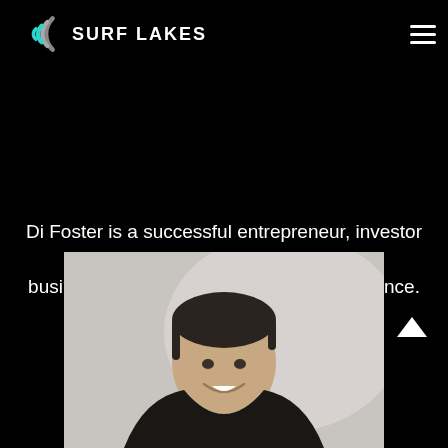SURF LAKES
Di Foster is a successful entrepreneur, investor and business manager with over 33yrs experience. He ... Read More
[Figure (photo): Headshot photo of a smiling man with dark hair, wearing a dark shirt, against a light grey background]